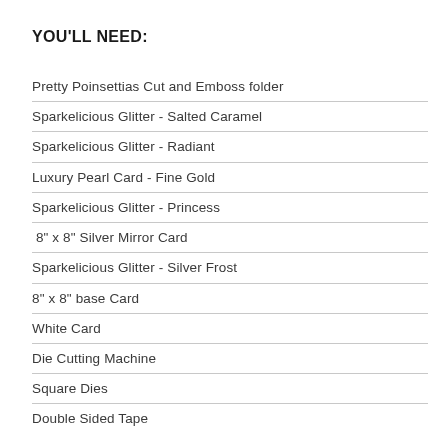YOU'LL NEED:
Pretty Poinsettias Cut and Emboss folder
Sparkelicious Glitter - Salted Caramel
Sparkelicious Glitter - Radiant
Luxury Pearl Card - Fine Gold
Sparkelicious Glitter - Princess
8" x 8" Silver Mirror Card
Sparkelicious Glitter - Silver Frost
8" x 8" base Card
White Card
Die Cutting Machine
Square Dies
Double Sided Tape